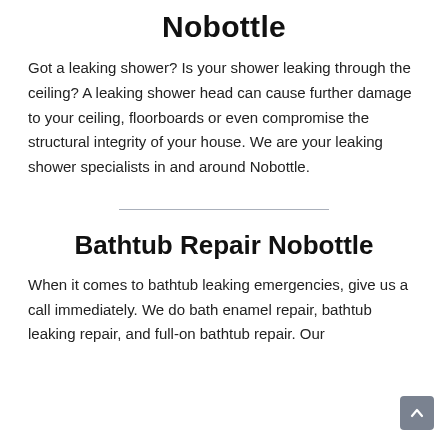Nobottle
Got a leaking shower? Is your shower leaking through the ceiling? A leaking shower head can cause further damage to your ceiling, floorboards or even compromise the structural integrity of your house. We are your leaking shower specialists in and around Nobottle.
Bathtub Repair Nobottle
When it comes to bathtub leaking emergencies, give us a call immediately. We do bath enamel repair, bathtub leaking repair, and full-on bathtub repair. Our